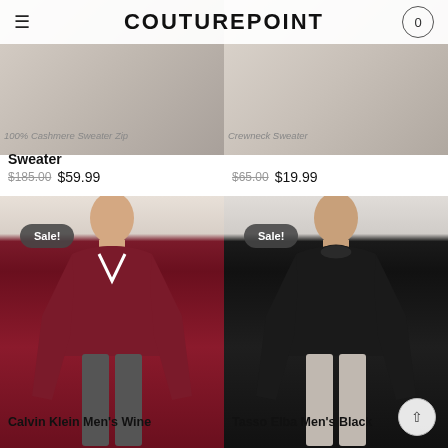COUTUREPOINT
[Figure (photo): Partially visible top product images showing two sweaters with text overlays]
Sweater
$185.00  $59.99
$65.00  $19.99
[Figure (photo): Calvin Klein Men's Wine V-neck sweater worn by male model, with Sale badge]
[Figure (photo): Tasso Elba Men's Black crewneck sweater worn by male model, with Sale badge]
Calvin Klein Men's Wine
Tasso Elba Men's Black